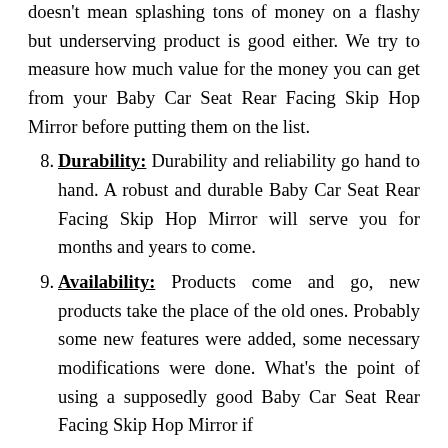doesn't mean splashing tons of money on a flashy but underserving product is good either. We try to measure how much value for the money you can get from your Baby Car Seat Rear Facing Skip Hop Mirror before putting them on the list.
8. Durability: Durability and reliability go hand to hand. A robust and durable Baby Car Seat Rear Facing Skip Hop Mirror will serve you for months and years to come.
9. Availability: Products come and go, new products take the place of the old ones. Probably some new features were added, some necessary modifications were done. What's the point of using a supposedly good Baby Car Seat Rear Facing Skip Hop Mirror if